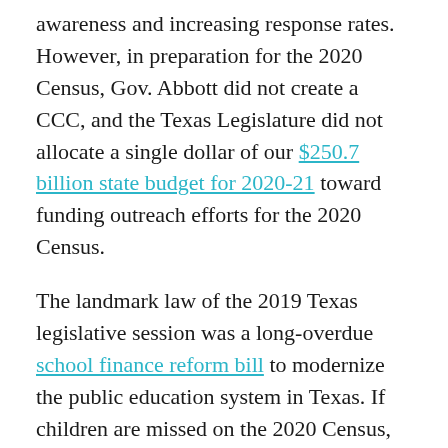awareness and increasing response rates. However, in preparation for the 2020 Census, Gov. Abbott did not create a CCC, and the Texas Legislature did not allocate a single dollar of our $250.7 billion state budget for 2020-21 toward funding outreach efforts for the 2020 Census.
The landmark law of the 2019 Texas legislative session was a long-overdue school finance reform bill to modernize the public education system in Texas. If children are missed on the 2020 Census, our state loses billions of federal dollars for programs that give children a healthy start in life: Head Start, Medicaid, the Supplemental Nutrition Assistance Program (SNAP, formerly “food stamps”), the Children’s Health Insurance Program (CHIP), Title I, child care subsidies, Early Childhood Intervention, and school lunches. This is